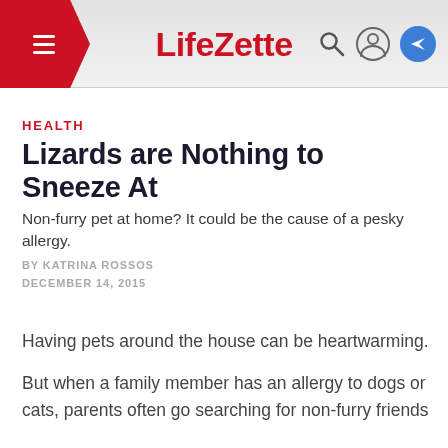LifeZette
HEALTH
Lizards are Nothing to Sneeze At
Non-furry pet at home? It could be the cause of a pesky allergy.
BY KATRINA ROSSOS
DECEMBER 14, 2015
Having pets around the house can be heartwarming.

But when a family member has an allergy to dogs or cats, parents often go searching for non-furry friends